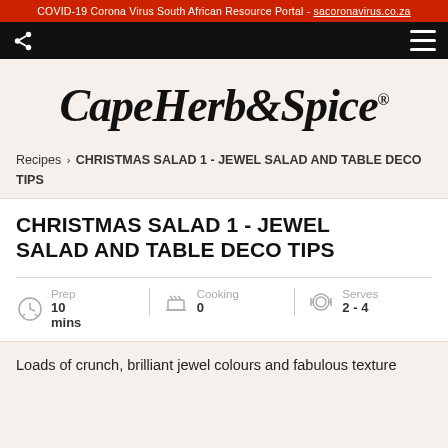COVID-19 Corona Virus South African Resource Portal - sacoronavirus.co.za
[Figure (logo): Cape Herb & Spice logo in italic serif font]
Recipes > CHRISTMAS SALAD 1 - JEWEL SALAD AND TABLE DECO TIPS
CHRISTMAS SALAD 1 - JEWEL SALAD AND TABLE DECO TIPS
Prep 10 mins | Cooking 0 | Serves 2 - 4
Loads of crunch, brilliant jewel colours and fabulous texture